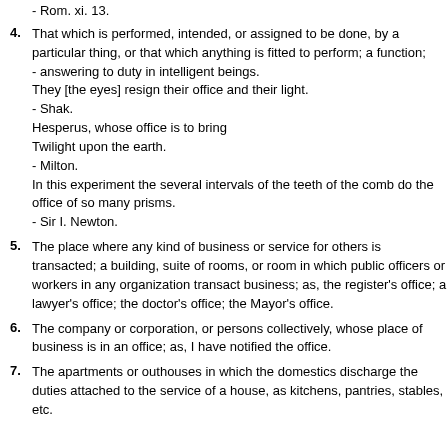- Rom. xi. 13.
4. That which is performed, intended, or assigned to be done, by a particular thing, or that which anything is fitted to perform; a function; - answering to duty in intelligent beings. They [the eyes] resign their office and their light. - Shak. Hesperus, whose office is to bring Twilight upon the earth. - Milton. In this experiment the several intervals of the teeth of the comb do the office of so many prisms. - Sir I. Newton.
5. The place where any kind of business or service for others is transacted; a building, suite of rooms, or room in which public officers or workers in any organization transact business; as, the register's office; a lawyer's office; the doctor's office; the Mayor's office.
6. The company or corporation, or persons collectively, whose place of business is in an office; as, I have notified the office.
7. The apartments or outhouses in which the domestics discharge the duties attached to the service of a house, as kitchens, pantries, stables, etc.